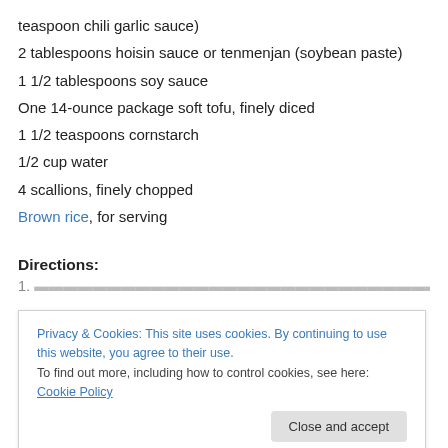teaspoon chili garlic sauce)
2 tablespoons hoisin sauce or tenmenjan (soybean paste)
1 1/2 tablespoons soy sauce
One 14-ounce package soft tofu, finely diced
1 1/2 teaspoons cornstarch
1/2 cup water
4 scallions, finely chopped
Brown rice, for serving
Directions:
1. (partial, obscured by cookie banner)
Privacy & Cookies: This site uses cookies. By continuing to use this website, you agree to their use.
To find out more, including how to control cookies, see here: Cookie Policy
Close and accept
2. Stir in the chili-bean sauce, hoisin and soy sauce and